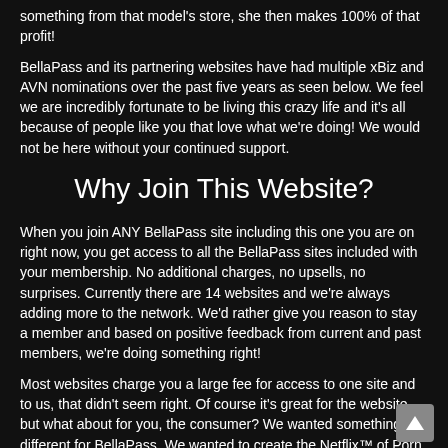something from that model's store, she then makes 100% of that profit!
BellaPass and its partnering websites have had multiple xBiz and AVN nominations over the past five years as seen below. We feel we are incredibly fortunate to be living this crazy life and it's all because of people like you that love what we're doing! We would not be here without your continued support.
Why Join This Website?
When you join ANY BellaPass site including this one you are on right now, you get access to all the BellaPass sites included with your membership. No additional charges, no upsells, no surprises. Currently there are 14 websites and we're always adding more to the network. We'd rather give you reason to stay a member and based on positive feedback from current and past members, we're doing something right!
Most websites charge you a large fee for access to one site and to us, that didn't seem right. Of course it's great for the website but what about for you, the consumer? We wanted something different for BellaPass. We wanted to create the Netflix™ of Porn basically. Offer a lot of great content for one low fee. We have found what works for us, and our members and that's what we've been doing day in and day out since February 2009. That's been our bread